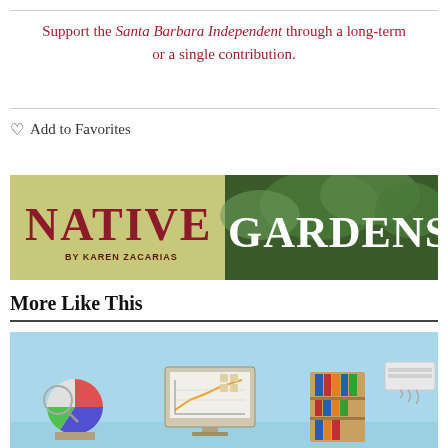Support the Santa Barbara Independent through a long-term or a single contribution.
♡ Add to Favorites
[Figure (illustration): Native Gardens by Karen Zacarias banner image with decorative text on green/garden background]
More Like This
[Figure (illustration): Isometric illustration showing office/business items including charts, bookshelf, monitor with graph, and air conditioner on light blue background]